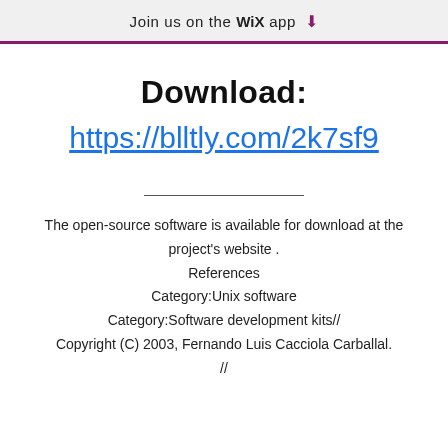Join us on the WiX app ↓
Download:
https://blltly.com/2k7sf9
The open-source software is available for download at the project's website . References Category:Unix software Category:Software development kits// Copyright (C) 2003, Fernando Luis Cacciola Carballal. //